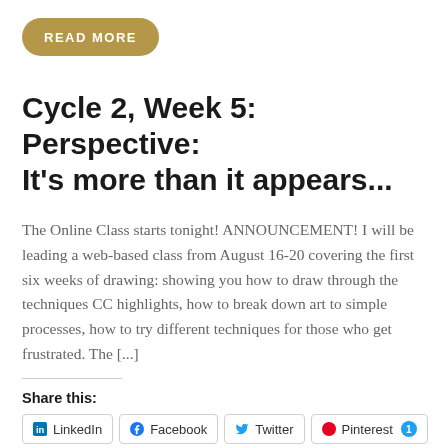READ MORE
Cycle 2, Week 5: Perspective: It’s more than it appears...
The Online Class starts tonight! ANNOUNCEMENT! I will be leading a web-based class from August 16-20 covering the first six weeks of drawing: showing you how to draw through the techniques CC highlights, how to break down art to simple processes, how to try different techniques for those who get frustrated. The [...]
Share this:
LinkedIn  Facebook  Twitter  Pinterest 1